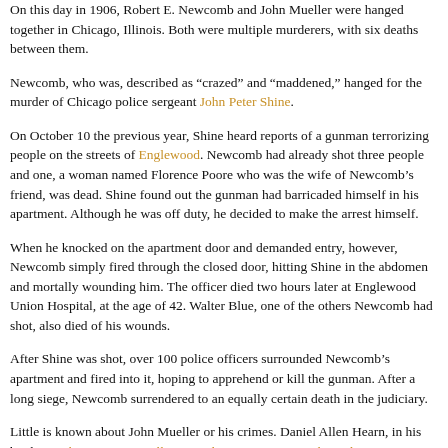On this day in 1906, Robert E. Newcomb and John Mueller were hanged together in Chicago, Illinois. Both were multiple murderers, with six deaths between them.
Newcomb, who was, described as “crazed” and “maddened,” hanged for the murder of Chicago police sergeant John Peter Shine.
On October 10 the previous year, Shine heard reports of a gunman terrorizing people on the streets of Englewood. Newcomb had already shot three people and one, a woman named Florence Poore who was the wife of Newcomb’s friend, was dead. Shine found out the gunman had barricaded himself in his apartment. Although he was off duty, he decided to make the arrest himself.
When he knocked on the apartment door and demanded entry, however, Newcomb simply fired through the closed door, hitting Shine in the abdomen and mortally wounding him. The officer died two hours later at Englewood Union Hospital, at the age of 42. Walter Blue, one of the others Newcomb had shot, also died of his wounds.
After Shine was shot, over 100 police officers surrounded Newcomb’s apartment and fired into it, hoping to apprehend or kill the gunman. After a long siege, Newcomb surrendered to an equally certain death in the judiciary.
Little is known about John Mueller or his crimes. Daniel Allen Hearn, in his book Legal Executions in Illinois, Indiana, Iowa, Kentucky and Missouri: A Comprehensive Registry, 1866-1965, describes Mueller as “a drunk and a loser who went berserk when refused money with which to buy liquor.” The 32-year-old slaughtered his wife, Annie, and their two daughters, two-year-old Martha and 3-month-old Mary, by shooting them and slashing them repeatedly with a razor.
The two killers were executed in the Cook County Jail. It was an integrated